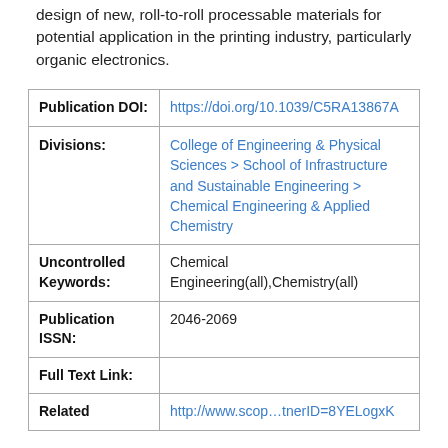design of new, roll-to-roll processable materials for potential application in the printing industry, particularly organic electronics.
| Field | Value |
| --- | --- |
| Publication DOI: | https://doi.org/10.1039/C5RA13867A |
| Divisions: | College of Engineering & Physical Sciences > School of Infrastructure and Sustainable Engineering > Chemical Engineering & Applied Chemistry |
| Uncontrolled Keywords: | Chemical Engineering(all),Chemistry(all) |
| Publication ISSN: | 2046-2069 |
| Full Text Link: |  |
| Related | http://www.scop...tnerID=8YELogxK |